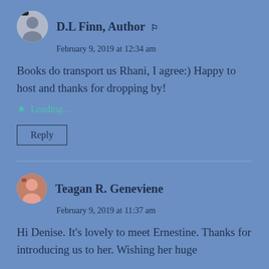D.L Finn, Author ⚙
February 9, 2019 at 12:34 am
Books do transport us Rhani, I agree:) Happy to host and thanks for dropping by!
Loading...
Reply
Teagan R. Geneviene
February 9, 2019 at 11:37 am
Hi Denise. It's lovely to meet Ernestine. Thanks for introducing us to her. Wishing her huge